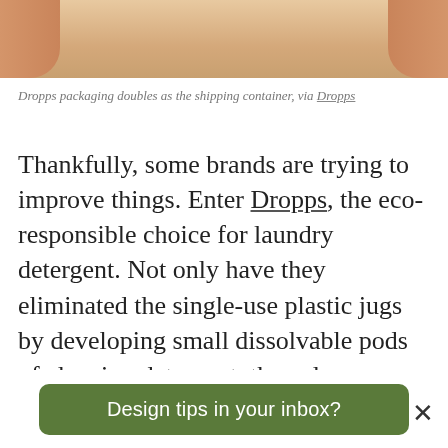[Figure (photo): Cropped photo showing hands or arms with a product, partial view of Dropps packaging]
Dropps packaging doubles as the shipping container, via Dropps
Thankfully, some brands are trying to improve things. Enter Dropps, the eco-responsible choice for laundry detergent. Not only have they eliminated the single-use plastic jugs by developing small dissolvable pods of cleaning detergent, they also use fully compostable packaging.
Your cleaning product shipment arrives at
Design tips in your inbox?